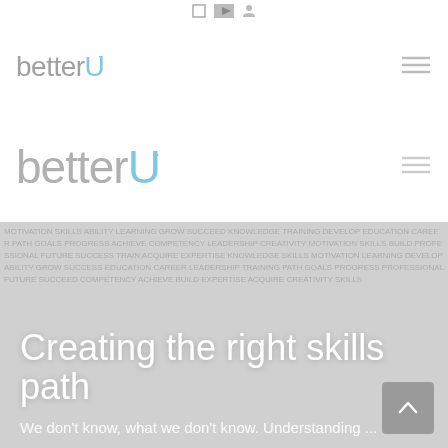[icon bar: square, image, person icons]
[Figure (logo): betterU logo — 'better' in light gray, 'U' in light blue, with tick mark superscript, small version with hamburger menu]
[Figure (logo): betterU logo — 'better' in light gray, 'U' in light blue, with tick mark superscript, larger version with hamburger menu]
[Figure (photo): Hero banner with word-cloud background in gray tones, overlaid with white text heading and subtitle]
Creating the right skills path
We don't know, what we don't know. Understanding ...